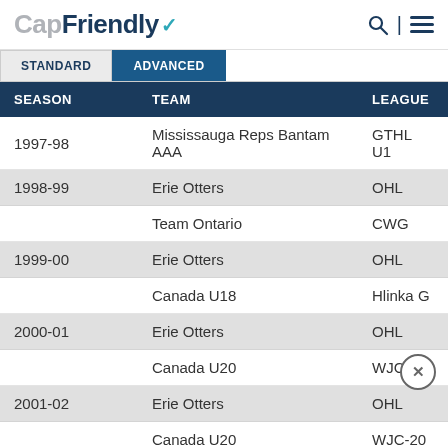CapFriendly
| SEASON | TEAM | LEAGUE |
| --- | --- | --- |
| 1997-98 | Mississauga Reps Bantam AAA | GTHL U1 |
| 1998-99 | Erie Otters | OHL |
|  | Team Ontario | CWG |
| 1999-00 | Erie Otters | OHL |
|  | Canada U18 | Hlinka G |
| 2000-01 | Erie Otters | OHL |
|  | Canada U20 | WJC-20 |
| 2001-02 | Erie Otters | OHL |
|  | Canada U20 | WJC-20 |
|  | Erie Otters | M-Cup |
| 2002-03 | St. Johns Maple Leafs | AHL |
|  | Cleveland Barons | AHL |